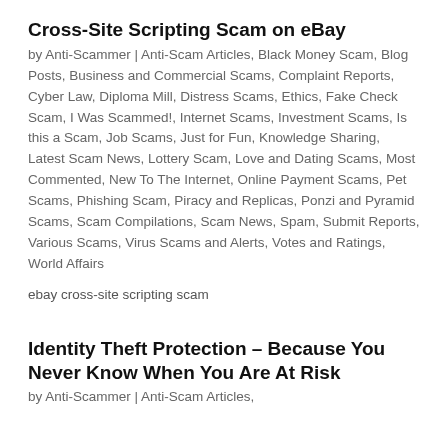Cross-Site Scripting Scam on eBay
by Anti-Scammer | Anti-Scam Articles, Black Money Scam, Blog Posts, Business and Commercial Scams, Complaint Reports, Cyber Law, Diploma Mill, Distress Scams, Ethics, Fake Check Scam, I Was Scammed!, Internet Scams, Investment Scams, Is this a Scam, Job Scams, Just for Fun, Knowledge Sharing, Latest Scam News, Lottery Scam, Love and Dating Scams, Most Commented, New To The Internet, Online Payment Scams, Pet Scams, Phishing Scam, Piracy and Replicas, Ponzi and Pyramid Scams, Scam Compilations, Scam News, Spam, Submit Reports, Various Scams, Virus Scams and Alerts, Votes and Ratings, World Affairs
ebay cross-site scripting scam
Identity Theft Protection – Because You Never Know When You Are At Risk
by Anti-Scammer | Anti-Scam Articles,